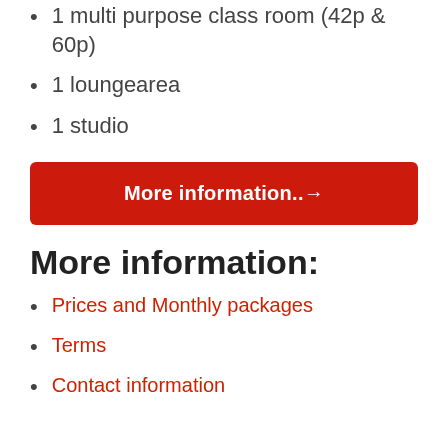1 multi purpose class room (42p & 60p)
1 loungearea
1 studio
More information..→
More information:
Prices and Monthly packages
Terms
Contact information